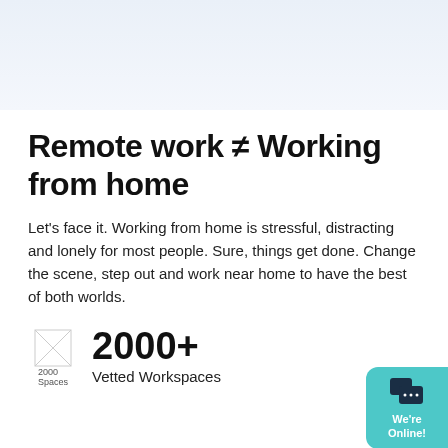[Figure (illustration): Light blue/grey top banner area, likely a cropped hero image section from a website]
Remote work ≠ Working from home
Let's face it. Working from home is stressful, distracting and lonely for most people. Sure, things get done. Change the scene, step out and work near home to have the best of both worlds.
[Figure (logo): Small broken image icon with alt text '2000 Spaces']
2000+
Vetted Workspaces
[Figure (illustration): Teal/cyan chat widget in bottom right corner with speech bubble icon, text: We're Online!]